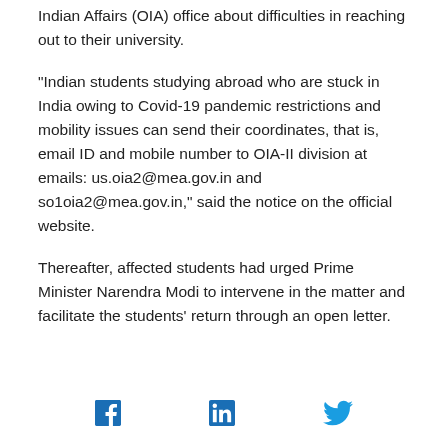Indian Affairs (OIA) office about difficulties in reaching out to their university.
“Indian students studying abroad who are stuck in India owing to Covid-19 pandemic restrictions and mobility issues can send their coordinates, that is, email ID and mobile number to OIA-II division at emails: us.oia2@mea.gov.in and so1oia2@mea.gov.in,” said the notice on the official website.
Thereafter, affected students had urged Prime Minister Narendra Modi to intervene in the matter and facilitate the students’ return through an open letter.
[Figure (other): Social media share icons: Facebook, LinkedIn, Twitter]